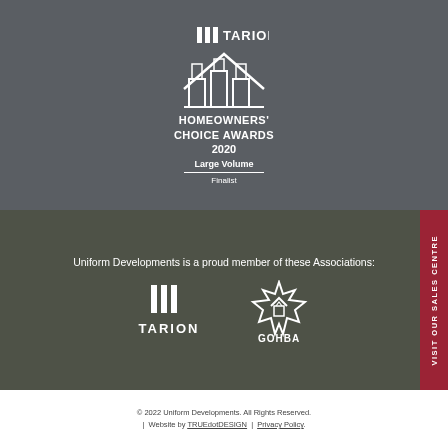[Figure (logo): Tarion logo and Homeowners' Choice Awards 2020 - Large Volume Finalist badge on grey background]
Uniform Developments is a proud member of these Associations:
[Figure (logo): Tarion logo and GOHBA logo side by side on dark olive background]
© 2022 Uniform Developments. All Rights Reserved. | Website by TRUEdotDESIGN | Privacy Policy.